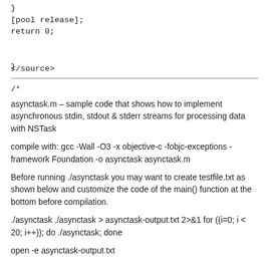}
[pool release];
return 0;

}
</source>
/*

asynctask.m – sample code that shows how to implement asynchronous stdin, stdout & stderr streams for processing data with NSTask

compile with: gcc -Wall -O3 -x objective-c -fobjc-exceptions -framework Foundation -o asynctask asynctask.m

Before running ./asynctask you may want to create testfile.txt as shown below and customize the code of the main() function at the bottom before compilation.

./asynctask ./asynctask > asynctask-output.txt 2>&1 for ((i=0; i < 20; i++)); do ./asynctask; done

open -e asynctask-output.txt